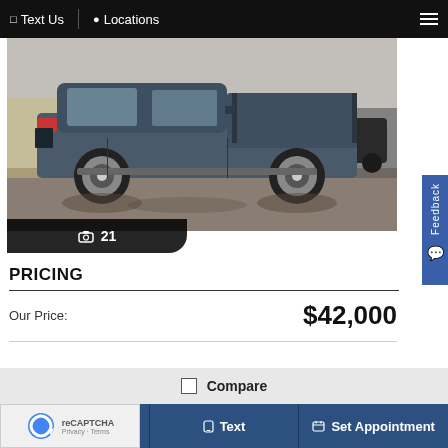Text Us  |  Locations
[Figure (photo): Blue/dark gray Chevrolet Silverado pickup truck parked in a lot, side profile view. Badge shows 21 photos.]
PRICING
Our Price:  $42,000
Compare
Call  Text  Set Appointment